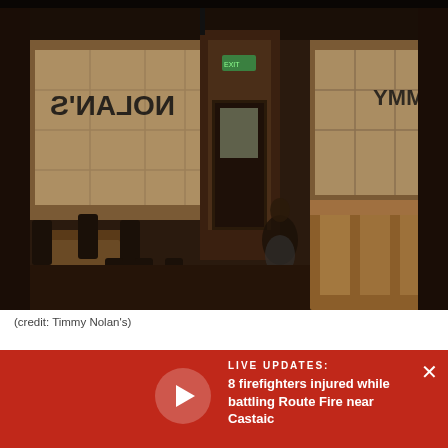[Figure (photo): Interior of Timmy Nolan's Tavern and Grill showing dining tables with dark wooden chairs, large windows with the restaurant name reversed on the glass, a bar counter on the right side, and dark wood paneling throughout. Warm, dim lighting. A person is visible near the entrance door in the background.]
(credit: Timmy Nolan's)
Timmy Nolan's Tavern and Grill
10111 Riverside Drive
Toluca Lake, CA 916
(818) 985-3359
www.timmynolans.
LIVE UPDATES:
8 firefighters injured while battling Route Fire near Castaic